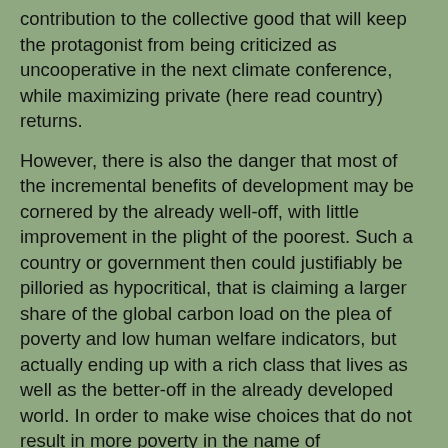contribution to the collective good that will keep the protagonist from being criticized as uncooperative in the next climate conference,  while maximizing private (here read country) returns.
However, there is also the danger that most of the incremental benefits of development may be cornered by the already well-off, with little improvement in the plight of the poorest. Such a country or government then could justifiably be pilloried as hypocritical, that is claiming a larger share of the global carbon load on the plea of poverty and low human welfare indicators, but actually ending up with a rich class that lives as well as the better-off in the already developed world. In order to make wise choices that do not result in more poverty in the name of development, we may therefore have to devise and apply more sensible measures of well-being, rather than blindly following the high-consumption paths of the developed world.
The climate change prognoses
The world's climate is like a global commons; a large number of countries, and billions of individuals, are doing things that